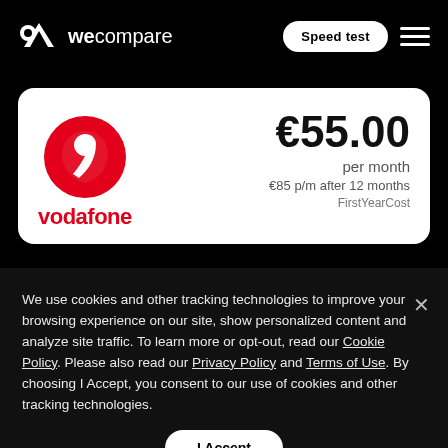wecompare — Speed test
[Figure (logo): Vodafone logo — red circular icon with white quotation mark]
€55.00 per month — €85 p/m after 12 months — FirstYearCost
We use cookies and other tracking technologies to improve your browsing experience on our site, show personalized content and analyze site traffic. To learn more or opt-out, read our Cookie Policy. Please also read our Privacy Policy and Terms of Use. By choosing I Accept, you consent to our use of cookies and other tracking technologies.
I Accept
Broadband
unlim next
Phone incl. minute
Call Now
Sign up Online